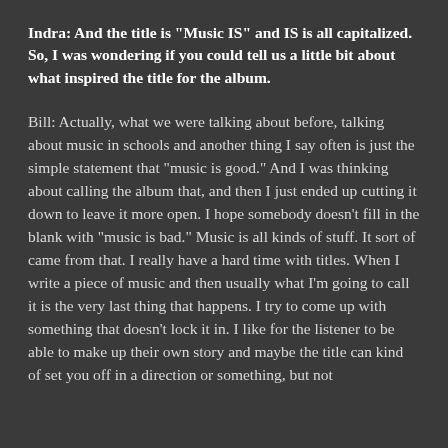Indra: And the title is "Music IS" and IS is all capitalized. So, I was wondering if you could tell us a little bit about what inspired the title for the album.
Bill: Actually, what we were talking about before, talking about music in schools and another thing I say often is just the simple statement that "music is good." And I was thinking about calling the album that, and then I just ended up cutting it down to leave it more open. I hope somebody doesn't fill in the blank with "music is bad." Music is all kinds of stuff. It sort of came from that. I really have a hard time with titles. When I write a piece of music and then usually what I'm going to call it is the very last thing that happens. I try to come up with something that doesn't lock it in. I like for the listener to be able to make up their own story and maybe the title can kind of set you off in a direction or something, but not